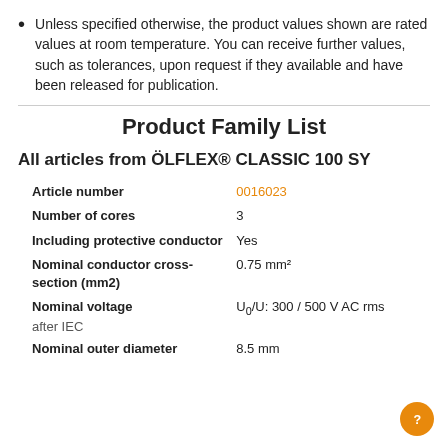Unless specified otherwise, the product values shown are rated values at room temperature. You can receive further values, such as tolerances, upon request if they available and have been released for publication.
Product Family List
All articles from ÖLFLEX® CLASSIC 100 SY
| Property | Value |
| --- | --- |
| Article number | 0016023 |
| Number of cores | 3 |
| Including protective conductor | Yes |
| Nominal conductor cross-section (mm2) | 0.75 mm² |
| Nominal voltage | U₀/U: 300 / 500 V AC rms after IEC |
| Nominal outer diameter | 8.5 mm |